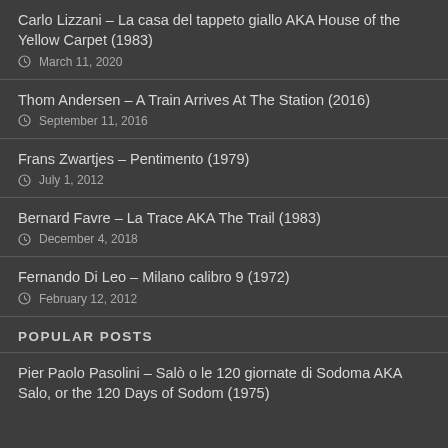Carlo Lizzani – La casa del tappeto giallo AKA House of the Yellow Carpet (1983)
March 11, 2020
Thom Andersen – A Train Arrives At The Station (2016)
September 11, 2016
Frans Zwartjes – Pentimento (1979)
July 1, 2012
Bernard Favre – La Trace AKA The Trail (1983)
December 4, 2018
Fernando Di Leo – Milano calibro 9 (1972)
February 12, 2012
POPULAR POSTS
Pier Paolo Pasolini – Salò o le 120 giornate di Sodoma AKA Salo, or the 120 Days of Sodom (1975)